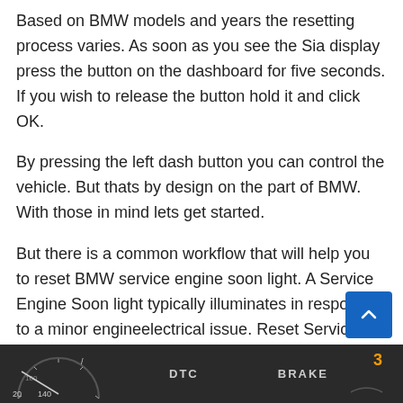Based on BMW models and years the resetting process varies. As soon as you see the Sia display press the button on the dashboard for five seconds. If you wish to release the button hold it and click OK.
By pressing the left dash button you can control the vehicle. But thats by design on the part of BMW. With those in mind lets get started.
But there is a common workflow that will help you to reset BMW service engine soon light. A Service Engine Soon light typically illuminates in response to a minor engineelectrical issue. Reset Service Engine Soon Light on BMW E46 330i.
[Figure (photo): Partial view of a BMW dashboard showing gauges with labels including '20 140', '160', 'DTC', 'BRAKE', and a number '3' on the right.]